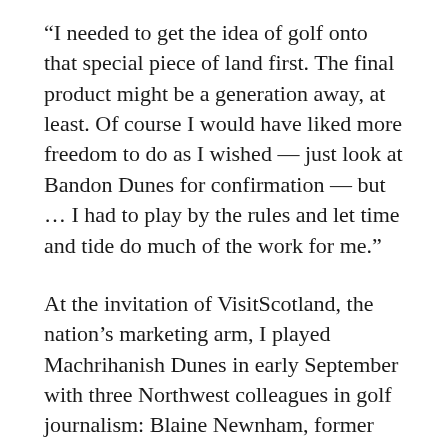“I needed to get the idea of golf onto that special piece of land first. The final product might be a generation away, at least. Of course I would have liked more freedom to do as I wished — just look at Bandon Dunes for confirmation — but … I had to play by the rules and let time and tide do much of the work for me.”
At the invitation of VisitScotland, the nation’s marketing arm, I played Machrihanish Dunes in early September with three Northwest colleagues in golf journalism: Blaine Newnham, former columnist for the Seattle Times and Eugene Register-Guard; Tom Cade, senior director of communications for the